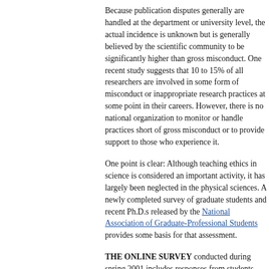Because publication disputes generally are handled at the department or university level, the actual incidence is unknown but is generally believed by the scientific community to be significantly higher than gross misconduct. One recent study suggests that 10 to 15% of all researchers are involved in some form of misconduct or inappropriate research practices at some point in their careers. However, there is no national organization to monitor or handle practices short of gross misconduct or to provide support to those who experience it.
One point is clear: Although teaching ethics in science is considered an important activity, it has largely been neglected in the physical sciences. A newly completed survey of graduate students and recent Ph.D.s released by the National Association of Graduate-Professional Students provides some basis for that assessment.
THE ONLINE SURVEY conducted during spring 2001 includes responses from students representing master's and doctoral programs at almost 400 institutions in the United States and Canada. The disciplines covered include the humanities, education, social sciences, life sciences, engineering, and physical sciences. The survey explored a broad range of issues related to implementation of educational practices recommended by the National Academy of Sciences, the